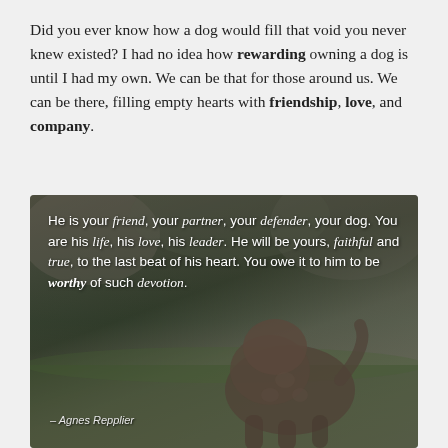Did you ever know how a dog would fill that void you never knew existed? I had no idea how rewarding owning a dog is until I had my own. We can be that for those around us. We can be there, filling empty hearts with friendship, love, and company.
[Figure (photo): Photo of a bronze/stone dog statue in a garden setting with rocks and greenery in the background. White text overlay contains a quote: 'He is your friend, your partner, your defender, your dog. You are his life, his love, his leader. He will be yours, faithful and true, to the last beat of his heart. You owe it to him to be worthy of such devotion. – Agnes Repplier']